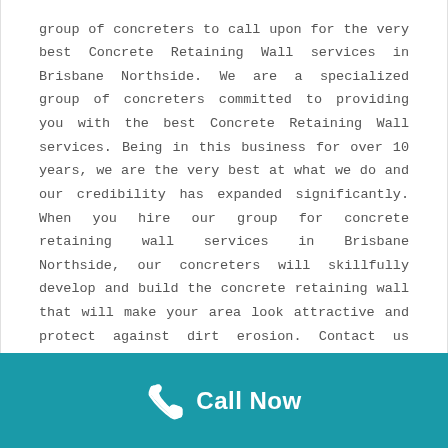group of concreters to call upon for the very best Concrete Retaining Wall services in Brisbane Northside. We are a specialized group of concreters committed to providing you with the best Concrete Retaining Wall services. Being in this business for over 10 years, we are the very best at what we do and our credibility has expanded significantly. When you hire our group for concrete retaining wall services in Brisbane Northside, our concreters will skillfully develop and build the concrete retaining wall that will make your area look attractive and protect against dirt erosion. Contact us right now for the very best deals.
[Figure (infographic): Teal/cyan footer bar with a white phone handset icon and bold white 'Call Now' text]